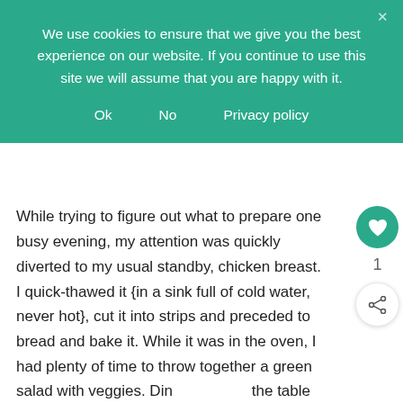We use cookies to ensure that we give you the best experience on our website. If you continue to use this site we will assume that you are happy with it.
Ok   No   Privacy policy
While trying to figure out what to prepare one busy evening, my attention was quickly diverted to my usual standby, chicken breast. I quick-thawed it {in a sink full of cold water, never hot}, cut it into strips and preceded to bread and bake it. While it was in the oven, I had plenty of time to throw together a green salad with veggies. Din... the table in less than 45 min. Perfect.
[Figure (other): WHAT'S NEXT arrow label with thumbnail image and text '50+ Kid-Friendly...']